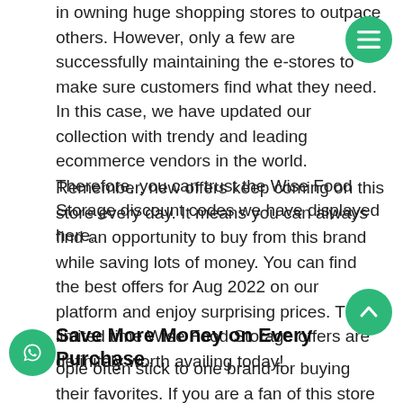in owning huge shopping stores to outpace others. However, only a few are successfully maintaining the e-stores to make sure customers find what they need. In this case, we have updated our collection with trendy and leading ecommerce vendors in the world. Therefore, you can trust the Wise Food Storage discount codes we have displayed here.
Remember, new offers keep coming on this store every day. It means you can always find an opportunity to buy from this brand while saving lots of money. You can find the best offers for Aug 2022 on our platform and enjoy surprising prices. These limited time Wise Food Storage offers are definitely worth availing today!
Save More Money on Every Purchase
ople often stick to one brand for buying their favorites. If you are a fan of this store and wish to buy from it without breaking the bank, save Couponado in